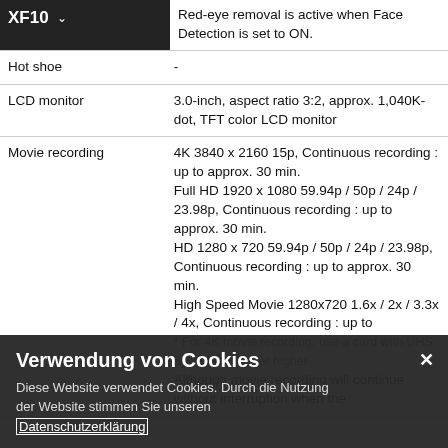| Feature | Description |
| --- | --- |
| XF10 | Red-eye removal is active when Face Detection is set to ON. |
| Hot shoe | - |
| LCD monitor | 3.0-inch, aspect ratio 3:2, approx. 1,040K-dot, TFT color LCD monitor |
| Movie recording | 4K 3840 x 2160 15p, Continuous recording : up to approx. 30 min.
Full HD 1920 x 1080 59.94p / 50p / 24p / 23.98p, Continuous recording : up to approx. 30 min.
HD 1280 x 720 59.94p / 50p / 24p / 23.98p, Continuous recording : up to approx. 30 min.
High Speed Movie 1280x720 1.6x / 2x / 3.3x / 4x, Continuous recording : up to
* For 4K movie recording, use a card with UHS Speed Class 3 or higher
Although movie recording will continue without interruption when the |
Verwendung von Cookies
Diese Website verwendet Cookies. Durch die Nutzung der Website stimmen Sie unseren Datenschutzerklärung